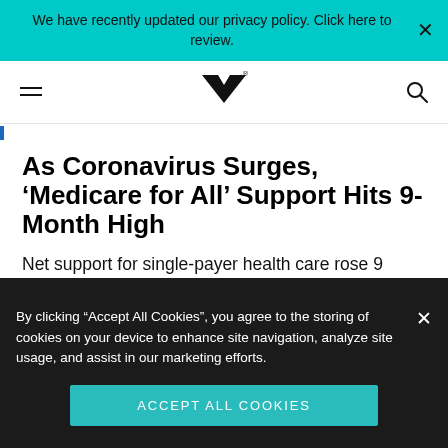We have recently updated our privacy policy. Click here to review.
[Figure (logo): MK logo — stylized M with checkmark/chevron underneath, with registered trademark symbol]
As Coronavirus Surges, ‘Medicare for All’ Support Hits 9-Month High
Net support for single-payer health care rose 9 points between February and March
By clicking “Accept All Cookies”, you agree to the storing of cookies on your device to enhance site navigation, analyze site usage, and assist in our marketing efforts.
Accept All Cookies